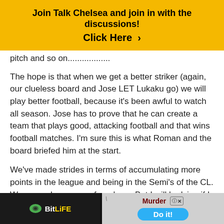[Figure (other): Yellow banner ad: 'Join Talk Chelsea and join in with the discussions! Click Here >']
pitch and so on..................
The hope is that when we get a better striker (again, our clueless board and Jose LET Lukaku go) we will play better football, because it's been awful to watch all season. Jose has to prove that he can create a team that plays good, attacking football and that wins football matches. I'm sure this is what Roman and the board briefed him at the start.
We've made strides in terms of accumulating more points in the league and being in the Semi's of the CL. We can only move on from here. But I will be lying if I said I was happy [ad] roduce almost week in week out. For a big club, that isn't good
[Figure (other): Two overlapping advertisement banners: BitLife app ad on left and Murder/Do it! game ad on right with close button]